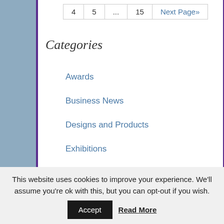4
5
...
15
Next Page»
Categories
Awards
Business News
Designs and Products
Exhibitions
news
Outlets
Press
This website uses cookies to improve your experience. We'll assume you're ok with this, but you can opt-out if you wish. Accept Read More